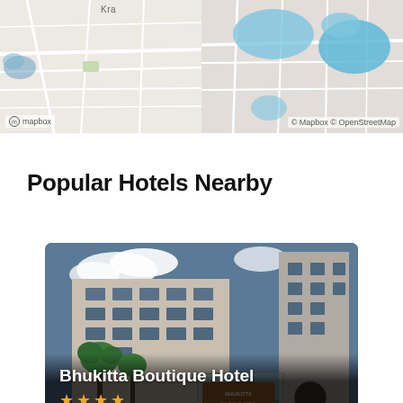[Figure (map): Mapbox street map showing local area, split into two panels. Left panel shows street map with 'Kra...' text visible and Mapbox logo attribution. Right panel shows street map with blue water features and © Mapbox © OpenStreetMap attribution.]
Popular Hotels Nearby
[Figure (photo): Photo of Bhukitta Boutique Hotel exterior showing a multi-story white/beige building with palm trees, blue sky with clouds. Hotel name 'Bhukitta Boutique Hotel' displayed in white text overlay with 4 gold stars rating below.]